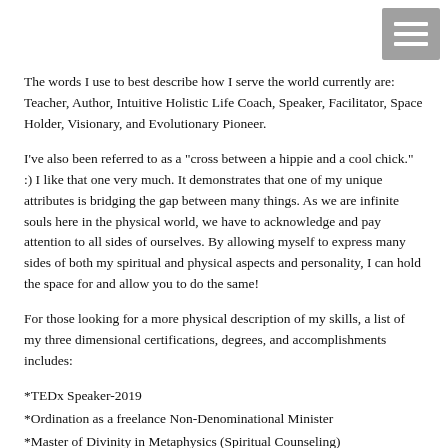[Figure (other): Hamburger menu icon (three horizontal white lines on gray background) in top right corner]
The words I use to best describe how I serve the world currently are: Teacher, Author, Intuitive Holistic Life Coach, Speaker, Facilitator, Space Holder, Visionary, and Evolutionary Pioneer.
I've also been referred to as a "cross between a hippie and a cool chick." :) I like that one very much. It demonstrates that one of my unique attributes is bridging the gap between many things. As we are infinite souls here in the physical world, we have to acknowledge and pay attention to all sides of ourselves. By allowing myself to express many sides of both my spiritual and physical aspects and personality, I can hold the space for and allow you to do the same!
For those looking for a more physical description of my skills, a list of my three dimensional certifications, degrees, and accomplishments includes:
*TEDx Speaker-2019
*Ordination as a freelance Non-Denominational Minister
*Master of Divinity in Metaphysics (Spiritual Counseling)